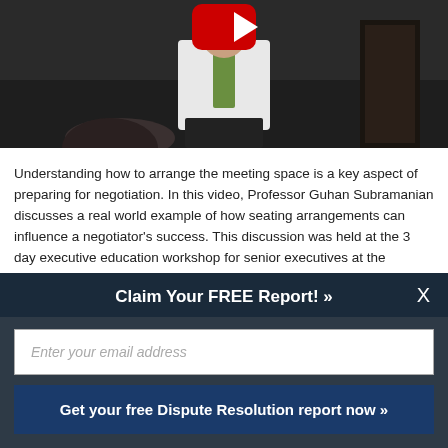[Figure (screenshot): Video thumbnail showing a person in a white shirt and green tie presenting, with a YouTube play button overlay on a dark background]
Understanding how to arrange the meeting space is a key aspect of preparing for negotiation. In this video, Professor Guhan Subramanian discusses a real world example of how seating arrangements can influence a negotiator’s success. This discussion was held at the 3 day executive education workshop for senior executives at the Program on Negotiation at Harvard Law School.
Guhan Subramanian is the Professor of Law and Business at the Harvard Law
Claim Your FREE Report! »
Enter your email address
Get your free Dispute Resolution report now »